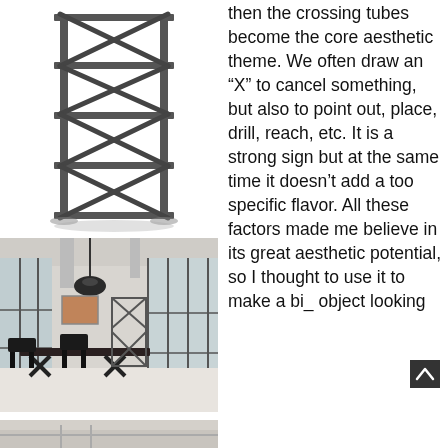[Figure (illustration): A tall industrial-style metal shelf unit with X-cross brace pattern, rendered in black/dark grey against white background, casting a shadow.]
[Figure (photo): Interior photo of an industrial loft dining space with concrete ceiling, large factory windows, a pendant industrial lamp, a dark wood table with metal X-base chairs, and an X-cross shelving unit in the background.]
[Figure (photo): Partial photo at bottom of page showing an industrial interior scene, cropped.]
then the crossing tubes become the core aesthetic theme. We often draw an “X” to cancel something, but also to point out, place, drill, reach, etc. It is a strong sign but at the same time it doesn’t add a too specific flavor. All these factors made me believe in its great aesthetic potential, so I thought to use it to make a bi_ object looking